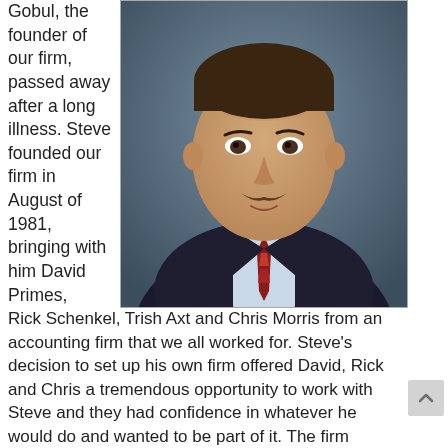Gobul, the founder of our firm, passed away after a long illness. Steve founded our firm in August of 1981, bringing with him David Primes,
[Figure (photo): Portrait photo of a middle-aged man with a mustache wearing a dark suit, light blue shirt, and red patterned tie, photographed against a dark blue-grey background.]
Rick Schenkel, Trish Axt and Chris Morris from an accounting firm that we all worked for. Steve's decision to set up his own firm offered David, Rick and Chris a tremendous opportunity to work with Steve and they had confidence in whatever he would do and wanted to be part of it. The firm